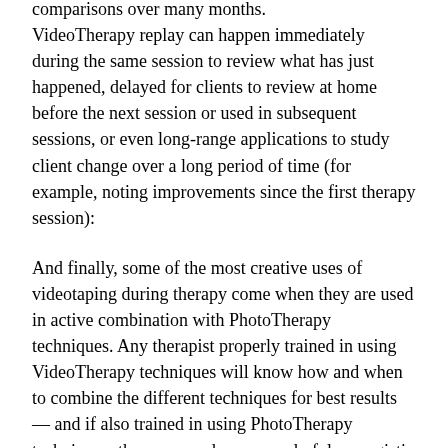comparisons over many months. VideoTherapy replay can happen immediately during the same session to review what has just happened, delayed for clients to review at home before the next session or used in subsequent sessions, or even long-range applications to study client change over a long period of time (for example, noting improvements since the first therapy session):
And finally, some of the most creative uses of videotaping during therapy come when they are used in active combination with PhotoTherapy techniques. Any therapist properly trained in using VideoTherapy techniques will know how and when to combine the different techniques for best results — and if also trained in using PhotoTherapy techniques, they can produce a wonderful synergistic process for the client.